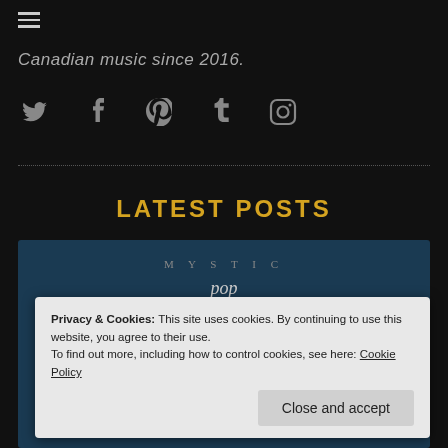☰ (hamburger menu)
Canadian music since 2016.
[Figure (illustration): Social media icons row: Twitter, Facebook, Pinterest, Tumblr, Instagram]
LATEST POSTS
[Figure (screenshot): Post card with dark blue background showing: MYSTIC label, pop genre, Single Release: You We Mystic... title]
Privacy & Cookies: This site uses cookies. By continuing to use this website, you agree to their use.
To find out more, including how to control cookies, see here: Cookie Policy
Close and accept